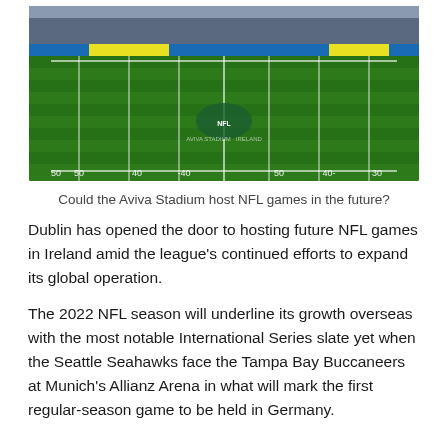[Figure (photo): Aerial view of Aviva Stadium in Dublin with NFL field markings painted on the grass, showing yard lines and end zones under stadium lights with stands visible in the background.]
Could the Aviva Stadium host NFL games in the future?
Dublin has opened the door to hosting future NFL games in Ireland amid the league's continued efforts to expand its global operation.
The 2022 NFL season will underline its growth overseas with the most notable International Series slate yet when the Seattle Seahawks face the Tampa Bay Buccaneers at Munich's Allianz Arena in what will mark the first regular-season game to be held in Germany.